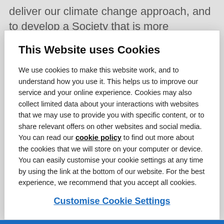deliver our climate change approach, and to develop a Society that is more conscious of climate change
This Website uses Cookies
We use cookies to make this website work, and to understand how you use it. This helps us to improve our service and your online experience. Cookies may also collect limited data about your interactions with websites that we may use to provide you with specific content, or to share relevant offers on other websites and social media. You can read our cookie policy to find out more about the cookies that we will store on your computer or device. You can easily customise your cookie settings at any time by using the link at the bottom of our website. For the best experience, we recommend that you accept all cookies.
Customise Cookie Settings